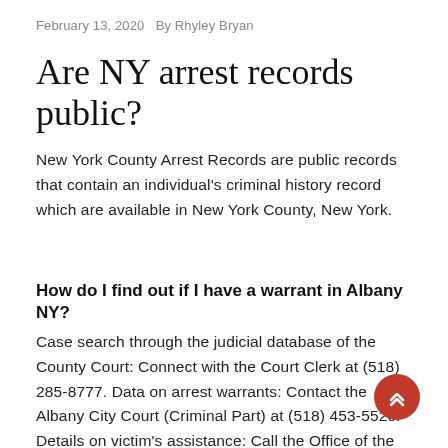February 13, 2020   By Rhyley Bryan
Are NY arrest records public?
New York County Arrest Records are public records that contain an individual's criminal history record which are available in New York County, New York.
How do I find out if I have a warrant in Albany NY?
Case search through the judicial database of the County Court: Connect with the Court Clerk at (518) 285-8777. Data on arrest warrants: Contact the Albany City Court (Criminal Part) at (518) 453-5520. Details on victim's assistance: Call the Office of the